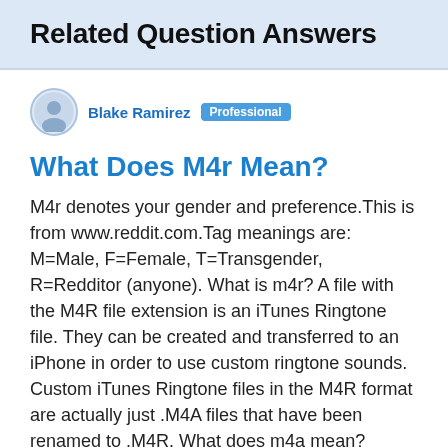Related Question Answers
Blake Ramirez  Professional
What Does M4r Mean?
M4r denotes your gender and preference.This is from www.reddit.com.Tag meanings are: M=Male, F=Female, T=Transgender, R=Redditor (anyone). What is m4r? A file with the M4R file extension is an iTunes Ringtone file. They can be created and transferred to an iPhone in order to use custom ringtone sounds. Custom iTunes Ringtone files in the M4R format are actually just .M4A files that have been renamed to .M4R. What does m4a mean? MPEG 4 Audio What does m4a mean Reddit? 1 point · 4 years ago. M4A means "MPEG-4 Audio". How do I get m4r